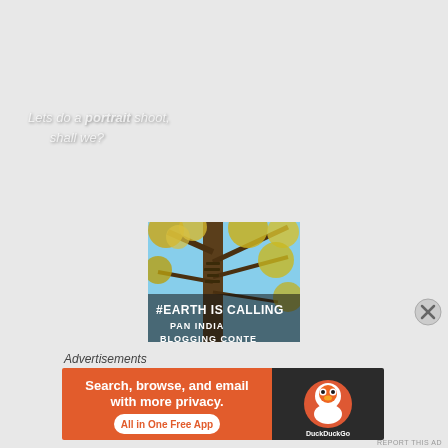Lets do a portrait shoot, shall we?
[Figure (photo): Photo of tree branches with yellow-green leaves against blue sky with text '#EARTH IS CALLING' and 'PAN INDIA BLOGGING CONTEST' overlay - advertisement for a blogging contest]
[Figure (illustration): Close (X) button circle icon]
Advertisements
[Figure (screenshot): DuckDuckGo advertisement banner: 'Search, browse, and email with more privacy. All in One Free App' with DuckDuckGo logo on dark background]
REPORT THIS AD